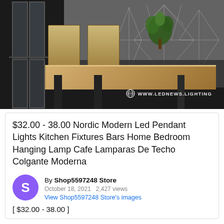[Figure (photo): Interior design photo of a modern kitchen/dining area with wooden table, chairs, and geometric patterned wall, with watermark 'WWW.LEDNEWS.LIGHTING' overlaid.]
$32.00 - 38.00 Nordic Modern Led Pendant Lights Kitchen Fixtures Bars Home Bedroom Hanging Lamp Cafe Lamparas De Techo Colgante Moderna
By Shop5597248 Store
October 18, 2021   2,427 views
View Shop5597248 Store's images
[ $32.00 - 38.00 ]